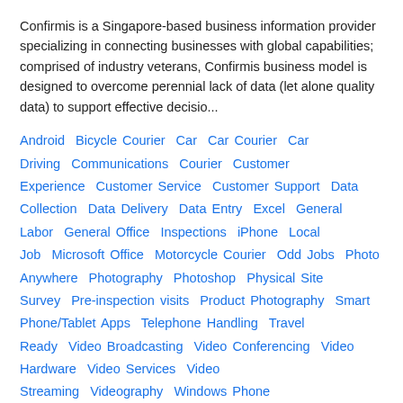Confirmis is a Singapore-based business information provider specializing in connecting businesses with global capabilities; comprised of industry veterans, Confirmis business model is designed to overcome perennial lack of data (let alone quality data) to support effective decisio...
Android  Bicycle Courier  Car  Car Courier  Car Driving  Communications  Courier  Customer Experience  Customer Service  Customer Support  Data Collection  Data Delivery  Data Entry  Excel  General Labor  General Office  Inspections  iPhone  Local Job  Microsoft Office  Motorcycle Courier  Odd Jobs  Photo Anywhere  Photography  Photoshop  Physical Site Survey  Pre-inspection visits  Product Photography  Smart Phone/Tablet Apps  Telephone Handling  Travel Ready  Video Broadcasting  Video Conferencing  Video Hardware  Video Services  Video Streaming  Videography  Windows Phone
$11  (Avg Bid)
LOCAL